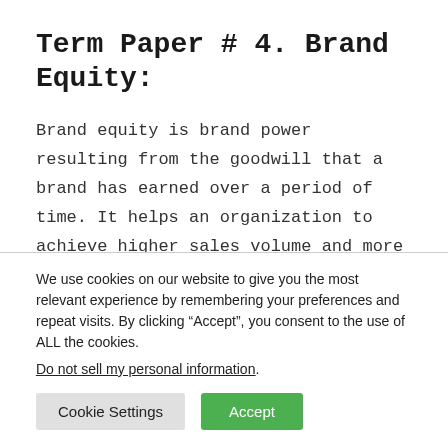Term Paper # 4. Brand Equity:
Brand equity is brand power resulting from the goodwill that a brand has earned over a period of time. It helps an organization to achieve higher sales volume and more profit. Brand equity is created through marketing campaigns. For
We use cookies on our website to give you the most relevant experience by remembering your preferences and repeat visits. By clicking “Accept”, you consent to the use of ALL the cookies.
Do not sell my personal information.